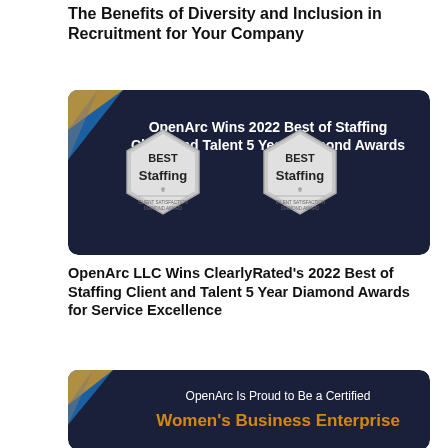The Benefits of Diversity and Inclusion in Recruitment for Your Company
[Figure (illustration): Dark navy banner image with two hexagonal 'Best Staffing' diamond award badges. Text reads: 'OpenArc Wins 2022 Best of Staffing Client and Talent 5 Year Diamond Awards'. Blue and gold geometric accents in top-left corner.]
OpenArc LLC Wins ClearlyRated's 2022 Best of Staffing Client and Talent 5 Year Diamond Awards for Service Excellence
[Figure (illustration): Dark navy banner image with text: 'OpenArc Is Proud to Be a Certified Women's Business Enterprise' (Women's Business Enterprise in orange). Blue and gold geometric accents in top-left corner.]